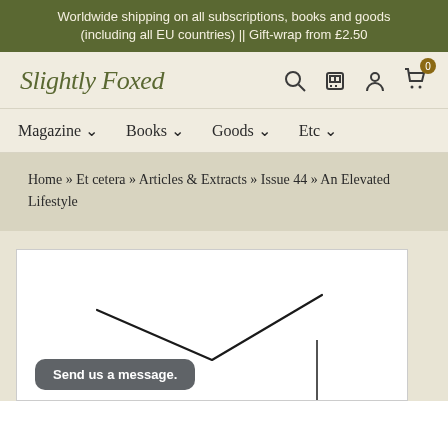Worldwide shipping on all subscriptions, books and goods (including all EU countries) || Gift-wrap from £2.50
[Figure (logo): Slightly Foxed handwritten-style logo in olive green]
[Figure (other): Header navigation icons: search, phone, account, cart with badge 0]
Magazine ∨   Books ∨   Goods ∨   Etc ∨
Home » Et cetera » Articles & Extracts » Issue 44 » An Elevated Lifestyle
[Figure (illustration): Partial illustration showing hand-drawn line art with a V-shaped line, possibly mountains or a bird in flight, on white background]
Send us a message.